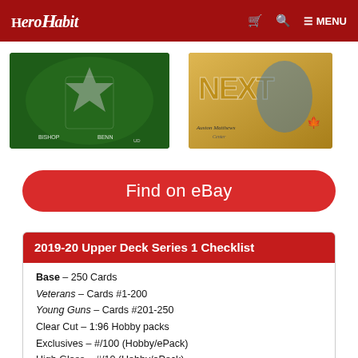HeroHabit — MENU
[Figure (photo): Two hockey trading cards: left card shows green Stars design (Upper Deck), right card shows gold Next Generation design featuring Auston Matthews, Center, Toronto Maple Leafs]
Find on eBay
2019-20 Upper Deck Series 1 Checklist
Base – 250 Cards
Veterans – Cards #1-200
Young Guns – Cards #201-250
Clear Cut – 1:96 Hobby packs
Exclusives – #/100 (Hobby/ePack)
High Gloss – #/10 (Hobby/ePack)
Jumbos (Young Guns) – 1 per Jumbo Blaster
2019 NHL Draft Short Print (SP) – 1 Cards